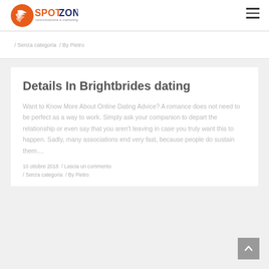SPOTZONE comunicazione e marketing
/ Senza categoria / By Pietro
Details In Brightbrides dating
Want to Know More About Online Dating Advice? A romance does not need to be perfect as a way to work. Simply ask your companion to depart the relationship or even say that you aren't leaving in case you truly want this to happen. Sadly, many associations end very fast, because people do sustain them....
10 ottobre 2018 / Lascia un commento
/ Senza categoria / By Pietro